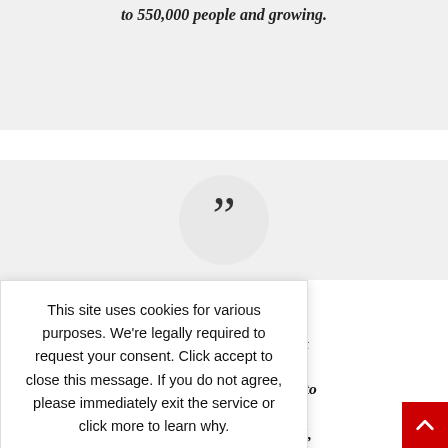to 550,000 people and growing.
[Figure (illustration): Large quotation mark icon inside a circular gray background, used as a decorative element for a pull quote.]
This site uses cookies for various purposes. We're legally required to request your consent. Click accept to close this message. If you do not agree, please immediately exit the service or click more to learn why.
rizing the mmunity. at doesn't oach to are used to n hostile to rescue ngerous even used uring a hrough our
community, as it just did a month ago in DeLand,